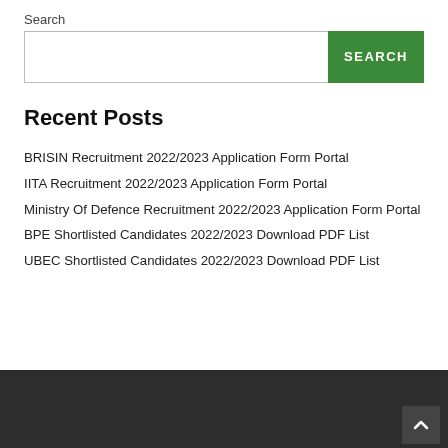Search
Recent Posts
BRISIN Recruitment 2022/2023 Application Form Portal
IITA Recruitment 2022/2023 Application Form Portal
Ministry Of Defence Recruitment 2022/2023 Application Form Portal
BPE Shortlisted Candidates 2022/2023 Download PDF List
UBEC Shortlisted Candidates 2022/2023 Download PDF List